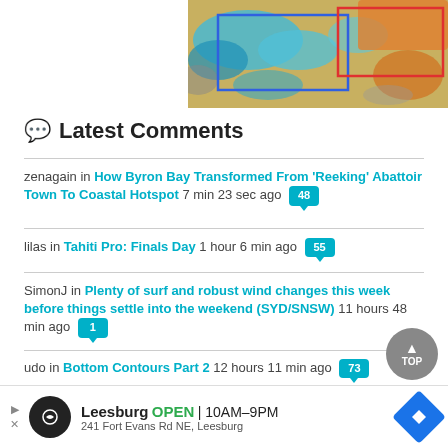[Figure (map): Satellite/thermal map showing Mediterranean region with blue and orange-yellow heat coloring, blue rectangle and red rectangle overlaid]
Latest Comments
zenagain in How Byron Bay Transformed From 'Reeking' Abattoir Town To Coastal Hotspot 7 min 23 sec ago [48]
lilas in Tahiti Pro: Finals Day 1 hour 6 min ago [55]
SimonJ in Plenty of surf and robust wind changes this week before things settle into the weekend (SYD/SNSW) 11 hours 48 min ago [1]
udo in Bottom Contours Part 2 12 hours 11 min ago [73]
Nick B in [link] s to work
[Figure (screenshot): Advertisement bar: Leesburg OPEN 10AM-9PM, 241 Fort Evans Rd NE, Leesburg with navigation arrow icon]